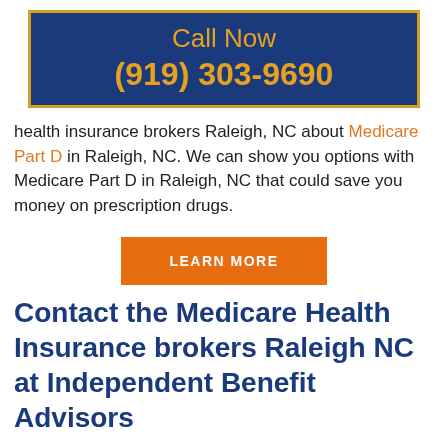Call Now (919) 303-9690
health insurance brokers Raleigh, NC about Medicare Part D in Raleigh, NC. We can show you options with Medicare Part D in Raleigh, NC that could save you money on prescription drugs.
[Figure (other): Orange LEARN MORE button]
Contact the Medicare Health Insurance brokers Raleigh NC at Independent Benefit Advisors